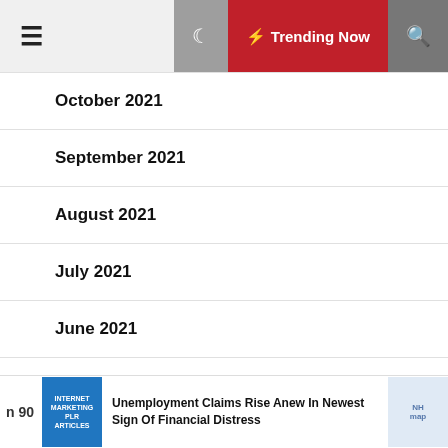☰ 🌙 ⚡ Trending Now 🔍
October 2021
September 2021
August 2021
July 2021
June 2021
May 2021
April 2021
n 90  Unemployment Claims Rise Anew In Newest Sign Of Financial Distress